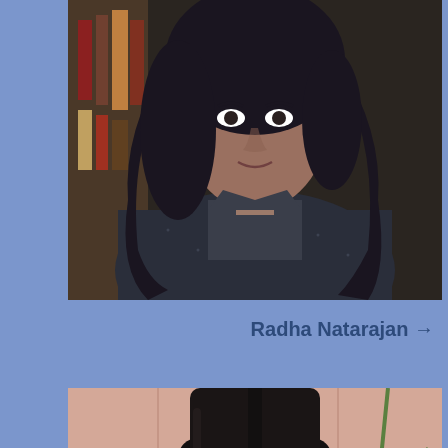[Figure (photo): Professional headshot of Radha Natarajan, a woman with long curly dark hair wearing a dark blazer and beaded necklace, posed in front of bookshelves]
Radha Natarajan →
[Figure (photo): Professional headshot of a woman with long straight dark hair wearing glasses and a dark blazer, smiling, with a plant and tiled wall visible in background]